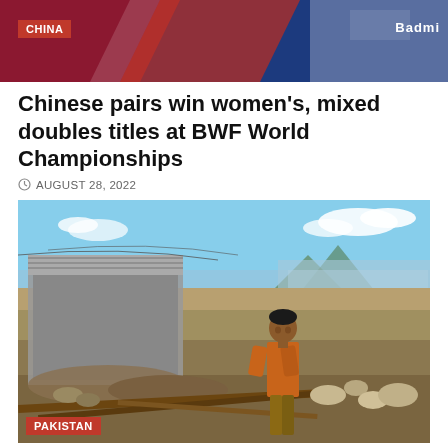[Figure (photo): Cropped photo of badminton players at BWF World Championships with CHINA label overlay and BWF Badminton branding visible]
Chinese pairs win women's, mixed doubles titles at BWF World Championships
AUGUST 28, 2022
[Figure (photo): A young boy standing amid flood debris and rubble in Pakistan, with collapsed structure in background and rocky riverbed visible. PAKISTAN label overlay at bottom left.]